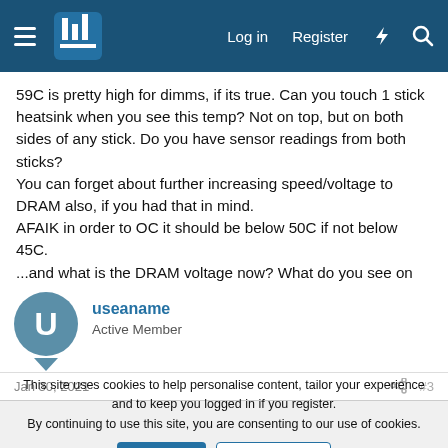Log in  Register
59C is pretty high for dimms, if its true. Can you touch 1 stick heatsink when you see this temp? Not on top, but on both sides of any stick. Do you have sensor readings from both sticks? You can forget about further increasing speed/voltage to DRAM also, if you had that in mind. AFAIK in order to OC it should be below 50C if not below 45C. ...and what is the DRAM voltage now? What do you see on HWiNFO?
useaname
Active Member
Jan 30, 2021
#3
This site uses cookies to help personalise content, tailor your experience and to keep you logged in if you register.
By continuing to use this site, you are consenting to our use of cookies.